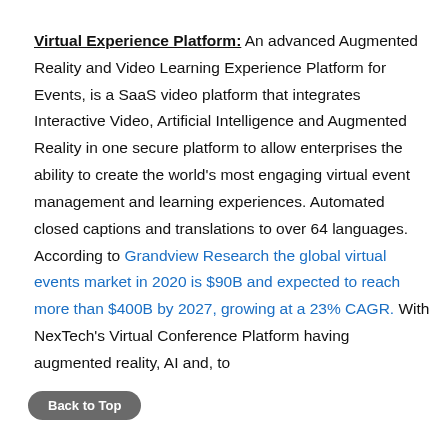Virtual Experience Platform: An advanced Augmented Reality and Video Learning Experience Platform for Events, is a SaaS video platform that integrates Interactive Video, Artificial Intelligence and Augmented Reality in one secure platform to allow enterprises the ability to create the world's most engaging virtual event management and learning experiences. Automated closed captions and translations to over 64 languages. According to Grandview Research the global virtual events market in 2020 is $90B and expected to reach more than $400B by 2027, growing at a 23% CAGR. With NexTech's Virtual Conference Platform having augmented reality, AI and, to